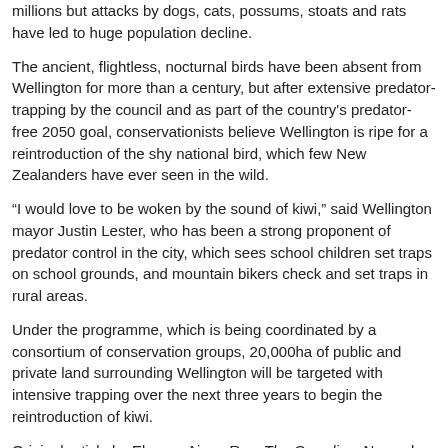millions but attacks by dogs, cats, possums, stoats and rats have led to huge population decline.
The ancient, flightless, nocturnal birds have been absent from Wellington for more than a century, but after extensive predator-trapping by the council and as part of the country's predator-free 2050 goal, conservationists believe Wellington is ripe for a reintroduction of the shy national bird, which few New Zealanders have ever seen in the wild.
“I would love to be woken by the sound of kiwi,” said Wellington mayor Justin Lester, who has been a strong proponent of predator control in the city, which sees school children set traps on school grounds, and mountain bikers check and set traps in rural areas.
Under the programme, which is being coordinated by a consortium of conservation groups, 20,000ha of public and private land surrounding Wellington will be targeted with intensive trapping over the next three years to begin the reintroduction of kiwi.
Original article by Eleanor Ainge Roy, The Guardian, November 13, 2018.
[Figure (infographic): Social media sharing icons: Facebook (blue), Twitter (light blue), LinkedIn (blue), Google+ (red)]
[Figure (infographic): Navigation arrows: left arrow (back) and right arrow (forward)]